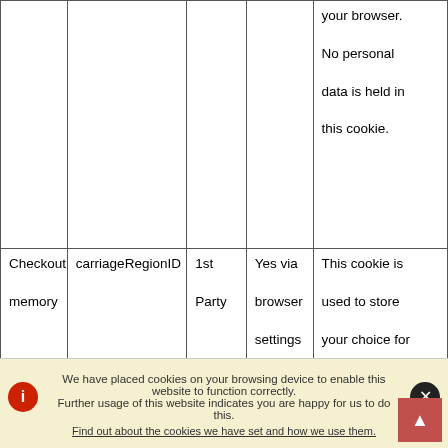| Category | Cookie Name | Party | Opt-out | Description |
| --- | --- | --- | --- | --- |
|  |  |  |  | your browser. No personal data is held in this cookie. |
| Checkout memory | carriageRegionID | 1st Party | Yes via browser settings | This cookie is used to store your choice for delivery region. Having it means you do not need to select a delivery region |
We have placed cookies on your browsing device to enable this website to function correctly. Further usage of this website indicates you are happy for us to do this. Find out about the cookies we have set and how we use them.